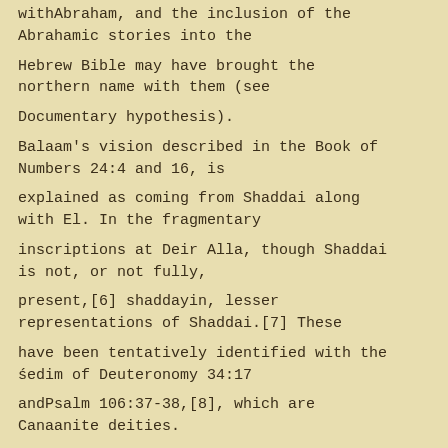withAbraham, and the inclusion of the Abrahamic stories into the
Hebrew Bible may have brought the northern name with them (see
Documentary hypothesis).
Balaam's vision described in the Book of Numbers 24:4 and 16, is
explained as coming from Shaddai along with El. In the fragmentary
inscriptions at Deir Alla, though Shaddai is not, or not fully,
present,[6] shaddayin, lesser representations of Shaddai.[7] These
have been tentatively identified with the śedim of Deuteronomy 34:17
andPsalm 106:37-38,[8], which are Canaanite deities.
According to Exodus 6:2, 3, Shaddai (Hebrew: שַׁדַּי) is the